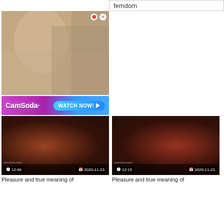femdom
[Figure (photo): Adult content photo with close/pin buttons overlay]
[Figure (photo): CamSoda advertisement banner with WATCH NOW button]
[Figure (photo): Video thumbnail left: duration 12:46, date 2020-11-23, watermark czinu1sn.com]
[Figure (photo): Video thumbnail right: duration 12:15, date 2020-11-23, watermark czinu1sn.com]
Pleasure and true meaning of
Pleasure and true meaning of